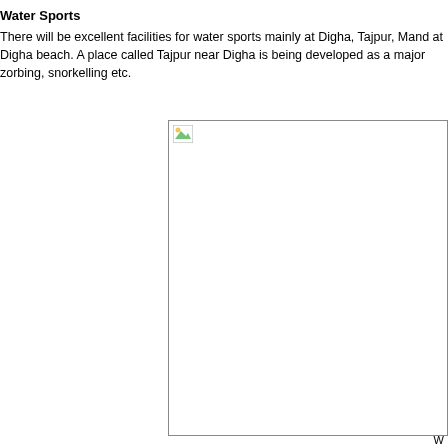Water Sports
There will be excellent facilities for water sports mainly at Digha, Tajpur, Mand at Digha beach. A place called Tajpur near Digha is being developed as a major zorbing, snorkelling etc.
[Figure (photo): Broken/missing image placeholder with a small icon in the top-left corner of a white rectangular box with a thin border]
W